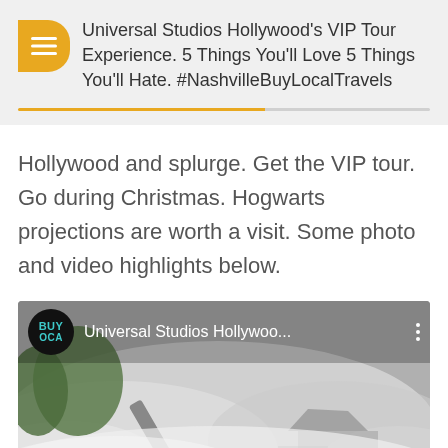Universal Studios Hollywood's VIP Tour Experience. 5 Things You'll Love 5 Things You'll Hate. #NashvilleBuyLocalTravels
Hollywood and splurge. Get the VIP tour. Go during Christmas. Hogwarts projections are worth a visit. Some photo and video highlights below.
[Figure (screenshot): YouTube video thumbnail showing 'Universal Studios Hollywoo...' with BuyLocal channel logo and a smoky outdoor scene]